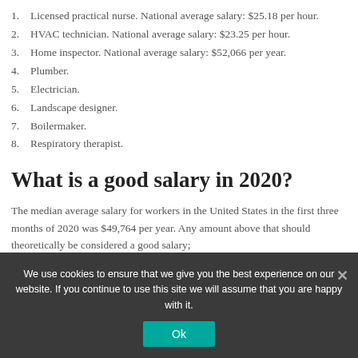1. Licensed practical nurse. National average salary: $25.18 per hour.
2. HVAC technician. National average salary: $23.25 per hour.
3. Home inspector. National average salary: $52,066 per year.
4. Plumber.
5. Electrician.
6. Landscape designer.
7. Boilermaker.
8. Respiratory therapist.
What is a good salary in 2020?
The median average salary for workers in the United States in the first three months of 2020 was $49,764 per year. Any amount above that should theoretically be considered a good salary;
We use cookies to ensure that we give you the best experience on our website. If you continue to use this site we will assume that you are happy with it.